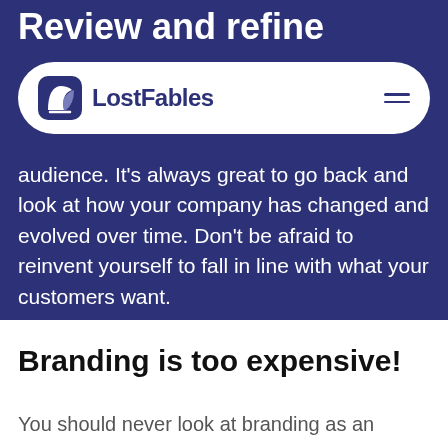Review and refine
[Figure (logo): LostFables logo with navigation bar overlay showing a book/quill icon and hamburger menu]
audience. It's always great to go back and look at how your company has changed and evolved over time. Don't be afraid to reinvent yourself to fall in line with what your customers want.
Branding is too expensive!
You should never look at branding as an